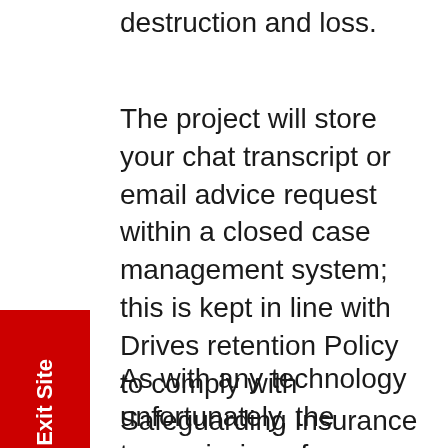destruction and loss.
The project will store your chat transcript or email advice request within a closed case management system; this is kept in line with Drives retention Policy to comply with Safeguarding Insurance Regulations. The information is stored on an online system run by Respect.
As with any technology unfortunately, the transmission of information using the internet is not completely secure.